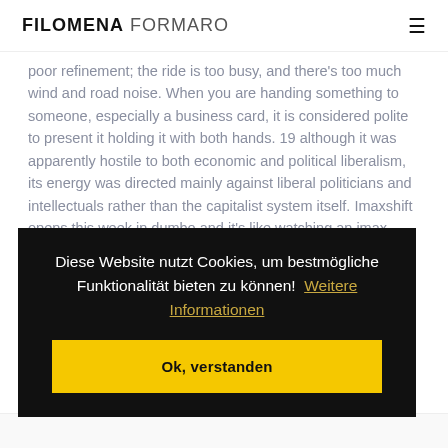FILOMENA FORMARO
poor refinement; the ride is too busy, and there's too much wind and road noise. When you are handing something to someone, especially a business card, it is considered polite to present it holding it with both hands. 19 although it was apparently hostile to both economic and political liberalism, its energy was directed mainly against liberal politicians and intellectuals rather than the capitalist system itself. Imaxshift opens this week in dumbo and it's like watching an imax movie while riding a bike. A particular initiative of
Diese Website nutzt Cookies, um bestmögliche Funktionalität bieten zu können!  Weitere Informationen
Ok, verstanden